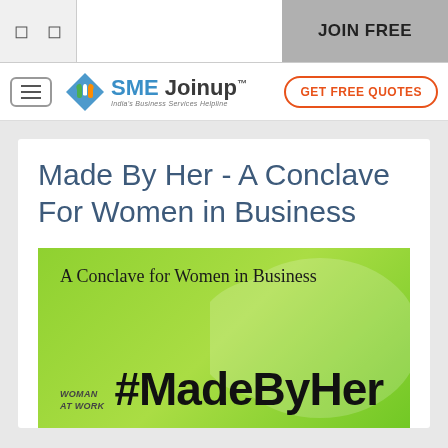JOIN FREE
[Figure (logo): SME Joinup logo with colorful hands icon and tagline 'India's Business Services Helpline']
GET FREE QUOTES
Made By Her - A Conclave For Women in Business
[Figure (illustration): Green promotional banner reading 'A Conclave for Women in Business' with 'woman at work' label and '#MadeByHer' hashtag in large bold text]